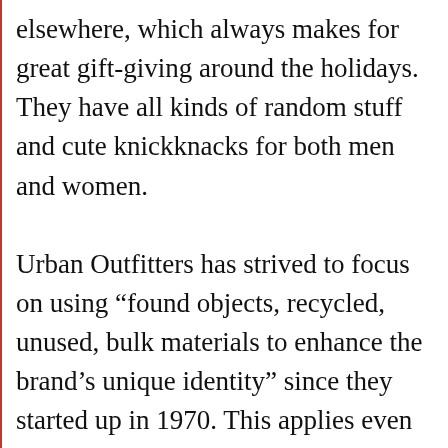elsewhere, which always makes for great gift-giving around the holidays. They have all kinds of random stuff and cute knickknacks for both men and women.

Urban Outfitters has strived to focus on using “found objects, recycled, unused, bulk materials to enhance the brand’s unique identity” since they started up in 1970. This applies even to their storefronts, where they make it a point to preserve the space’s originality, which includes things like recycling